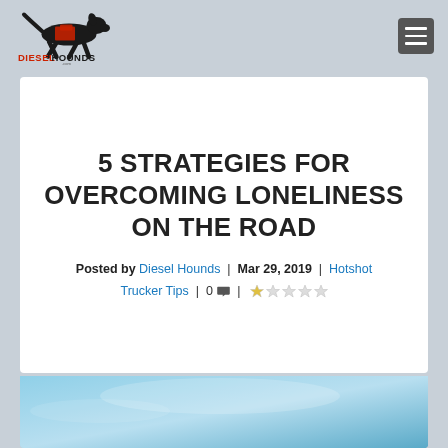DieselHounds.com logo and navigation
5 STRATEGIES FOR OVERCOMING LONELINESS ON THE ROAD
Posted by Diesel Hounds | Mar 29, 2019 | Hotshot Trucker Tips | 0 comments |
[Figure (photo): Sky photo showing blue gradient sky at the bottom of the page]